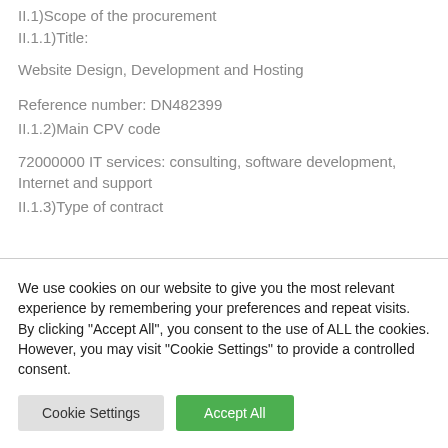II.1)Scope of the procurement
II.1.1)Title:
Website Design, Development and Hosting
Reference number: DN482399
II.1.2)Main CPV code
72000000 IT services: consulting, software development, Internet and support
II.1.3)Type of contract
We use cookies on our website to give you the most relevant experience by remembering your preferences and repeat visits. By clicking "Accept All", you consent to the use of ALL the cookies. However, you may visit "Cookie Settings" to provide a controlled consent.